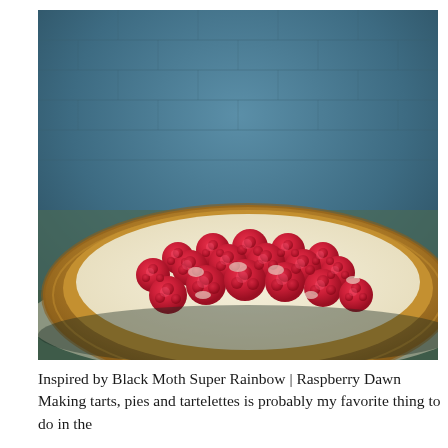[Figure (photo): A close-up photograph of a raspberry tart with a golden pastry crust filled with cream and topped with fresh whole raspberries, set against a blurred blue brick wall background.]
Inspired by Black Moth Super Rainbow | Raspberry Dawn Making tarts, pies and tartelettes is probably my favorite thing to do in the